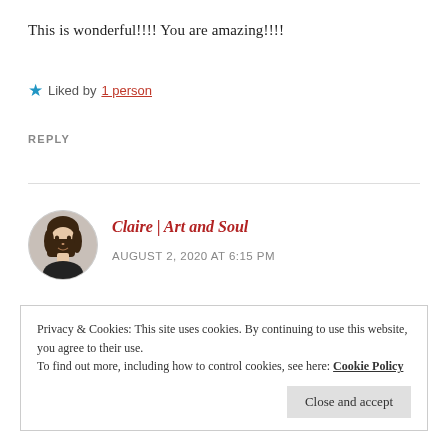This is wonderful!!!! You are amazing!!!!
★ Liked by 1 person
REPLY
[Figure (photo): Circular avatar of a woman with dark hair, smiling, wearing dark clothing, on light background]
Claire | Art and Soul
AUGUST 2, 2020 AT 6:15 PM
Privacy & Cookies: This site uses cookies. By continuing to use this website, you agree to their use.
To find out more, including how to control cookies, see here: Cookie Policy
Close and accept